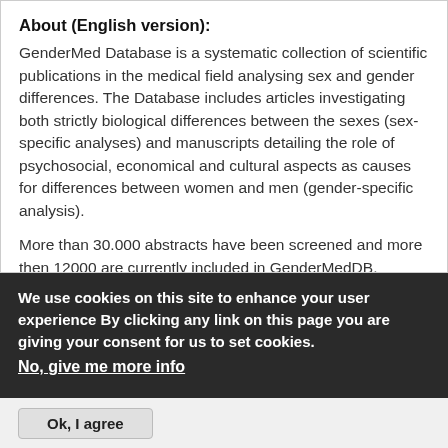About (English version):
GenderMed Database is a systematic collection of scientific publications in the medical field analysing sex and gender differences. The Database includes articles investigating both strictly biological differences between the sexes (sex-specific analyses) and manuscripts detailing the role of psychosocial, economical and cultural aspects as causes for differences between women and men (gender-specific analysis).
More than 30.000 abstracts have been screened and more then 12000 are currently included in GenderMedDB. Articles are being screened daily, as they are published in PubMed. Thus, GenderMedDB is a tool for all the scholars, physicians, students, researchers, health-care professionals and many more interested in sex and gender-specific literature.
The database is publicly accessible, but password-
We use cookies on this site to enhance your user experience By clicking any link on this page you are giving your consent for us to set cookies.
No, give me more info